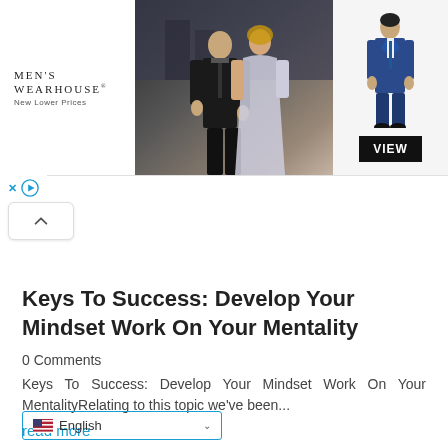[Figure (screenshot): Men's Wearhouse advertisement banner showing a couple in formal wear on the left and a man in a blue suit on the right with a VIEW button]
Keys To Success: Develop Your Mindset Work On Your Mentality
0 Comments
Keys To Success: Develop Your Mindset Work On Your MentalityRelating to this topic we've been...
read more
English